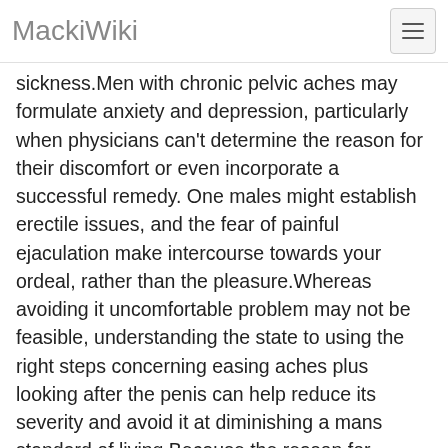MackiWiki
sickness.Men with chronic pelvic aches may formulate anxiety and depression, particularly when physicians can't determine the reason for their discomfort or even incorporate a successful remedy. One males might establish erectile issues, and the fear of painful ejaculation make intercourse towards your ordeal, rather than the pleasure.Whereas avoiding it uncomfortable problem may not be feasible, understanding the state to using the right steps concerning easing aches plus looking after the penis can help reduce its severity and avoid it at diminishing a mans standard of living.Because the reason for chronic prostatitis is not known, treatment for the situation was predicated on reducing the outward symptoms as well as enhancing total well being. To begin with, adult males might be put on per long-term program of antibiotics, enduring at 6 to a dozen days. Non-prescription problem relievers can help to help ease each vexation. Medical practioners might suggest guidance for the guys to greatly